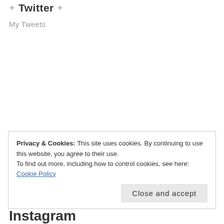Twitter
My Tweets
Privacy & Cookies: This site uses cookies. By continuing to use this website, you agree to their use.
To find out more, including how to control cookies, see here: Cookie Policy
Close and accept
Instagram